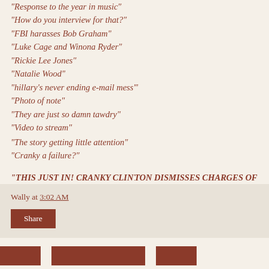"Response to the year in music"
"How do you interview for that?"
"FBI harasses Bob Graham"
"Luke Cage and Winona Ryder"
"Rickie Lee Jones"
"Natalie Wood"
"hillary's never ending e-mail mess"
"Photo of note"
"They are just so damn tawdry"
"Video to stream"
"The story getting little attention"
"Cranky a failure?"
"THIS JUST IN! CRANKY CLINTON DISMISSES CHARGES OF FAILURE!"
Wally at 3:02 AM
Share